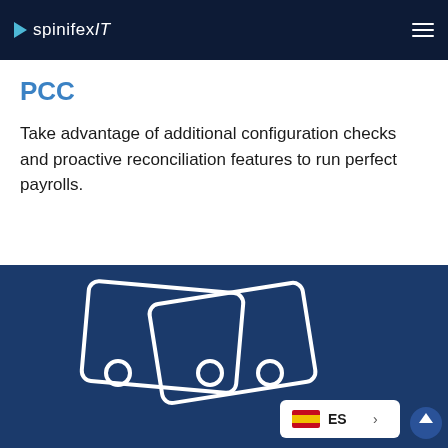spinifexIT
PCC
Take advantage of additional configuration checks and proactive reconciliation features to run perfect payrolls.
[Figure (illustration): Blue background section with stylized illustration of payment cards (white outlined cards with circles) and a language selector badge showing ES (Spain flag) with a chevron arrow, and a scroll-to-top button.]